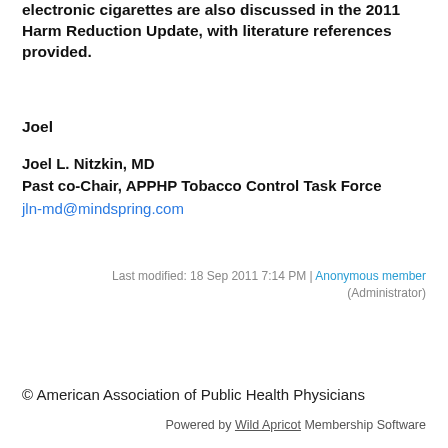electronic cigarettes are also discussed in the 2011 Harm Reduction Update, with literature references provided.
Joel
Joel L. Nitzkin, MD
Past co-Chair, APPHP Tobacco Control Task Force
jln-md@mindspring.com
Last modified: 18 Sep 2011 7:14 PM | Anonymous member (Administrator)
Join or Renew Your AAPHP membership Today
© American Association of Public Health Physicians
Powered by Wild Apricot Membership Software